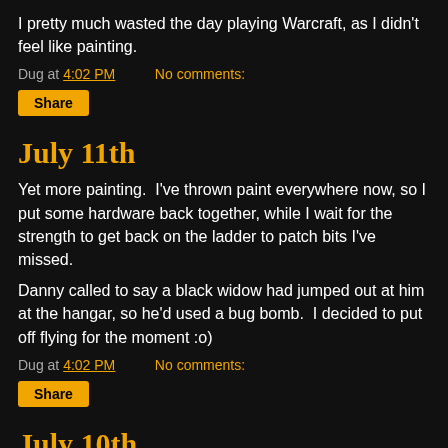I pretty much wasted the day playing Warcraft, as I didn't feel like painting.
Dug at 4:02 PM    No comments:
Share
July 11th
Yet more painting.  I've thrown paint everywhere now, so I put some hardware back together, while I wait for the strength to get back on the ladder to patch bits I've missed.
Danny called to say a black widow had jumped out at him at the hangar, so he'd used a bug bomb.  I decided to put off flying for the moment :o)
Dug at 4:02 PM    No comments:
Share
July 10th